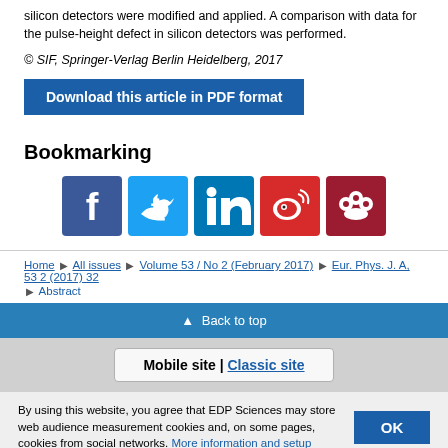silicon detectors were modified and applied. A comparison with data for the pulse-height defect in silicon detectors was performed.
© SIF, Springer-Verlag Berlin Heidelberg, 2017
Download this article in PDF format
Bookmarking
[Figure (other): Social media sharing icons: Facebook, Twitter, LinkedIn, Weibo, Mendeley]
Home ▶ All issues ▶ Volume 53 / No 2 (February 2017) ▶ Eur. Phys. J. A, 53 2 (2017) 32 ▶ Abstract
▲ Back to top
Mobile site | Classic site
By using this website, you agree that EDP Sciences may store web audience measurement cookies and, on some pages, cookies from social networks. More information and setup